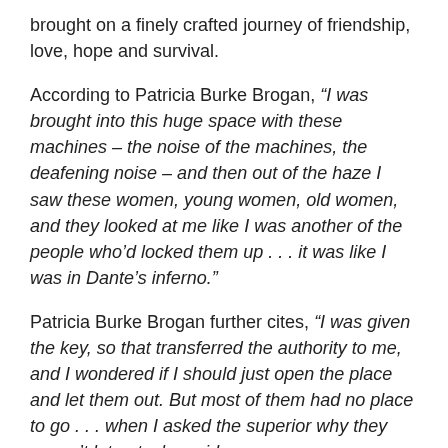brought on a finely crafted journey of friendship, love, hope and survival.
According to Patricia Burke Brogan, “I was brought into this huge space with these machines – the noise of the machines, the deafening noise – and then out of the haze I saw these women, young women, old women, and they looked at me like I was another of the people who’d locked them up . . . it was like I was in Dante’s inferno.”
Patricia Burke Brogan further cites, “I was given the key, so that transferred the authority to me, and I wondered if I should just open the place and let them out. But most of them had no place to go . . . when I asked the superior why they weren’t let out, she said